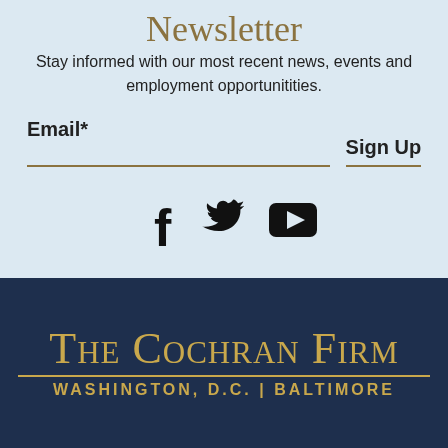Newsletter
Stay informed with our most recent news, events and employment opportunitities.
Email*
Sign Up
[Figure (other): Social media icons: Facebook, Twitter, YouTube]
[Figure (logo): The Cochran Firm logo with text: THE COCHRAN FIRM, WASHINGTON, D.C. | BALTIMORE on dark navy background]